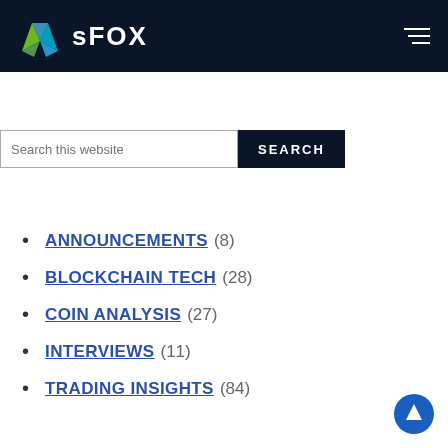sFOX
Search this website
ANNOUNCEMENTS (8)
BLOCKCHAIN TECH (28)
COIN ANALYSIS (27)
INTERVIEWS (11)
TRADING INSIGHTS (84)